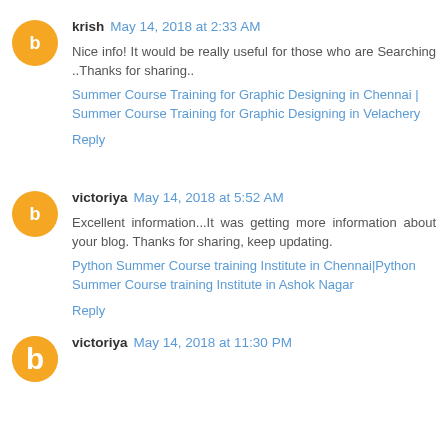krish May 14, 2018 at 2:33 AM
Nice info! It would be really useful for those who are Searching ..Thanks for sharing..
Summer Course Training for Graphic Designing in Chennai | Summer Course Training for Graphic Designing in Velachery
Reply
victoriya May 14, 2018 at 5:52 AM
Excellent information...It was getting more information about your blog. Thanks for sharing, keep updating.
Python Summer Course training Institute in Chennai|Python Summer Course training Institute in Ashok Nagar
Reply
victoriya May 14, 2018 at 11:30 PM